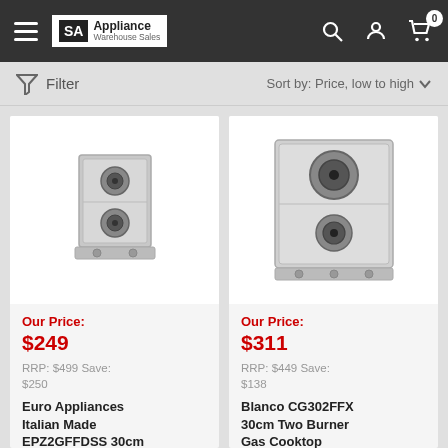SA Appliance Warehouse Sales
Filter   Sort by: Price, low to high
[Figure (photo): Two-burner stainless steel gas cooktop, product 1 (Euro Appliances EPZ2GFFDSS)]
Our Price:
$249
RRP: $499 Save:
$250
Euro Appliances Italian Made EPZ2GFFDSS 30cm Stainless Steel Gas Cooktop
[Figure (photo): Two-burner stainless steel gas cooktop, product 2 (Blanco CG302FFX)]
Our Price:
$311
RRP: $449 Save:
$138
Blanco CG302FFX 30cm Two Burner Gas Cooktop
BLANCO